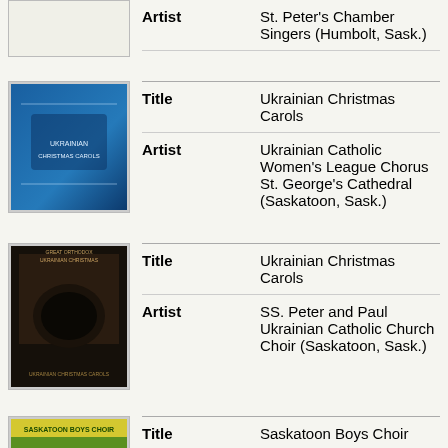| Field | Value |
| --- | --- |
| Artist | St. Peter's Chamber Singers (Humbolt, Sask.) |
[Figure (photo): Album cover for Ukrainian Christmas Carols (blue cover)]
| Field | Value |
| --- | --- |
| Title | Ukrainian Christmas Carols |
| Artist | Ukrainian Catholic Women's League Chorus St. George's Cathedral (Saskatoon, Sask.) |
[Figure (photo): Album cover for Ukrainian Christmas Carols (dark cover)]
| Field | Value |
| --- | --- |
| Title | Ukrainian Christmas Carols |
| Artist | SS. Peter and Paul Ukrainian Catholic Church Choir (Saskatoon, Sask.) |
[Figure (photo): Album cover for Saskatoon Boys Choir (green/yellow cover)]
| Field | Value |
| --- | --- |
| Title | Saskatoon Boys Choir |
| Artist | Saskatoon Boys Choir |
[Figure (photo): Album cover for Voices of praise (landscape cover)]
| Field | Value |
| --- | --- |
| Title | Voices of praise |